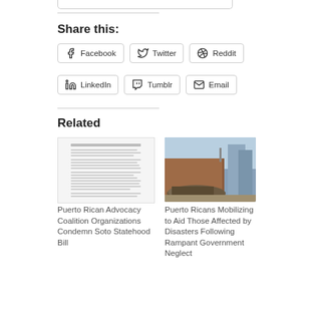[Figure (screenshot): Bottom edge of an image/photo stub at the top of the page]
Share this:
Facebook
Twitter
Reddit
LinkedIn
Tumblr
Email
Related
[Figure (screenshot): Thumbnail image showing a document — Puerto Rican Advocacy Coalition Organizations Condemn Soto Statehood Bill]
Puerto Rican Advocacy Coalition Organizations Condemn Soto Statehood Bill
[Figure (photo): Photo showing rubble and debris on a street with a damaged building — Puerto Ricans Mobilizing to Aid Those Affected by Disasters Following Rampant Government Neglect]
Puerto Ricans Mobilizing to Aid Those Affected by Disasters Following Rampant Government Neglect